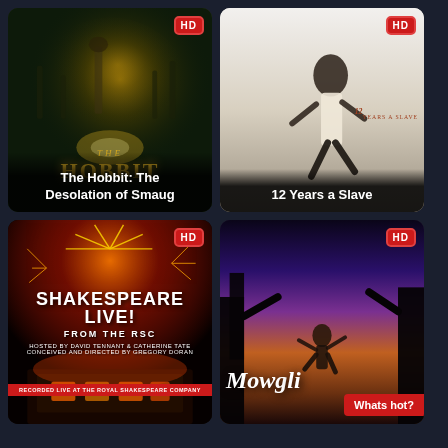[Figure (screenshot): Movie poster for The Hobbit: The Desolation of Smaug with HD badge, fantasy characters on dark background]
[Figure (screenshot): Movie poster for 12 Years a Slave with HD badge, man in white shirt running]
[Figure (screenshot): Movie/show poster for Shakespeare Live! From the RSC with HD badge, fireworks and theater]
[Figure (screenshot): Movie poster for Mowgli with HD badge and Whats hot? label, forest silhouette with figure]